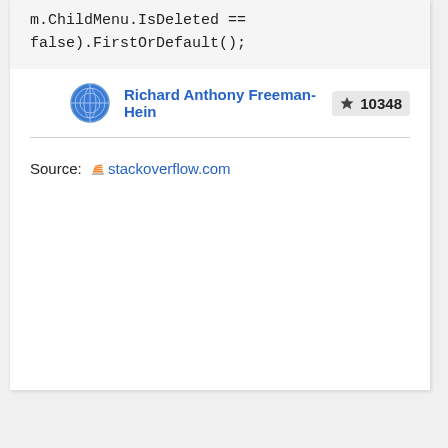m.ChildMenu.IsDeleted == false).FirstOrDefault();
Richard Anthony Freeman-Hein  ★ 10348
Source: stackoverflow.com